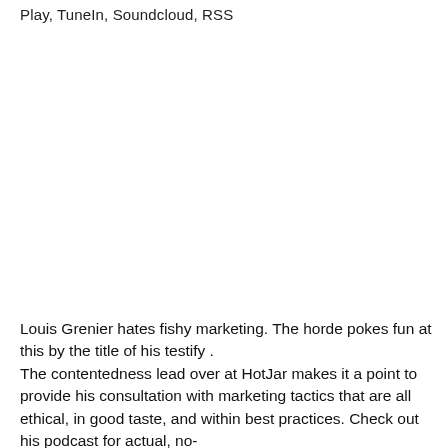Play, TuneIn, Soundcloud, RSS
Louis Grenier hates fishy marketing. The horde pokes fun at this by the title of his testify . The contentedness lead over at HotJar makes it a point to provide his consultation with marketing tactics that are all ethical, in good taste, and within best practices. Check out his podcast for actual, no-